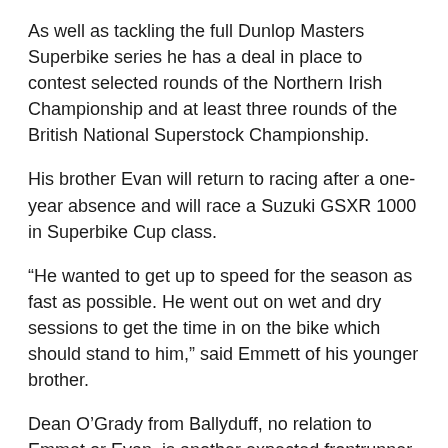As well as tackling the full Dunlop Masters Superbike series he has a deal in place to contest selected rounds of the Northern Irish Championship and at least three rounds of the British National Superstock Championship.
His brother Evan will return to racing after a one-year absence and will race a Suzuki GSXR 1000 in Superbike Cup class.
“He wanted to get up to speed for the season as fast as possible. He went out on wet and dry sessions to get the time in on the bike which should stand to him,” said Emmett of his younger brother.
Dean O’Grady from Ballyduff, no relation to Emmet or Evan, is another expected frontrunner in Superbike Cup races, a regular class podium finisher on his Kawasaki ZX10R.